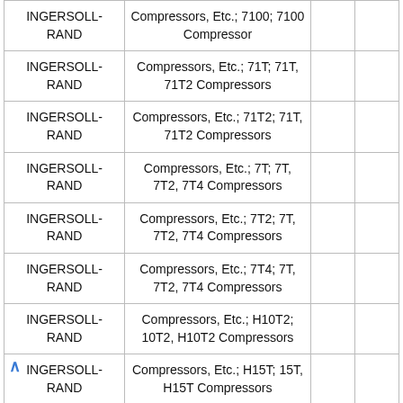| INGERSOLL-RAND | Compressors, Etc.; 7100; 7100 Compressor |  |  |
| INGERSOLL-RAND | Compressors, Etc.; 71T; 71T, 71T2 Compressors |  |  |
| INGERSOLL-RAND | Compressors, Etc.; 71T2; 71T, 71T2 Compressors |  |  |
| INGERSOLL-RAND | Compressors, Etc.; 7T; 7T, 7T2, 7T4 Compressors |  |  |
| INGERSOLL-RAND | Compressors, Etc.; 7T2; 7T, 7T2, 7T4 Compressors |  |  |
| INGERSOLL-RAND | Compressors, Etc.; 7T4; 7T, 7T2, 7T4 Compressors |  |  |
| INGERSOLL-RAND | Compressors, Etc.; H10T2; 10T2, H10T2 Compressors |  |  |
| INGERSOLL-RAND | Compressors, Etc.; H15T; 15T, H15T Compressors |  |  |